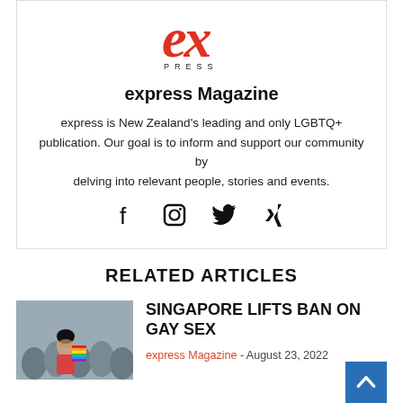[Figure (logo): Express Magazine logo — stylized red italic 'ex' with 'PRESS' in spaced capitals below]
express Magazine
express is New Zealand's leading and only LGBTQ+ publication. Our goal is to inform and support our community by delving into relevant people, stories and events.
[Figure (infographic): Social media icons: Facebook, Instagram, Twitter, Xing]
RELATED ARTICLES
[Figure (photo): A woman with a rainbow flag in a crowd at what appears to be an event or rally in Singapore]
SINGAPORE LIFTS BAN ON GAY SEX
express Magazine - August 23, 2022